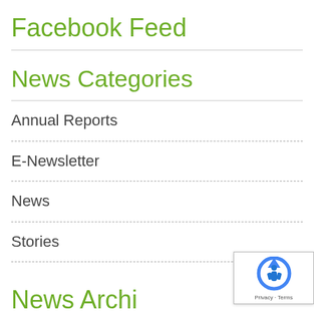Facebook Feed
News Categories
Annual Reports
E-Newsletter
News
Stories
News Archi…